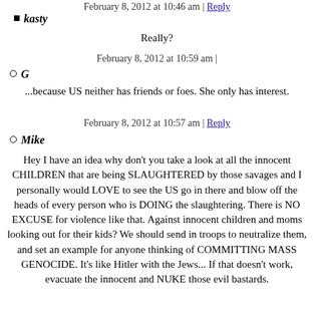February 8, 2012 at 10:46 am | Reply
kasty
Really?
February 8, 2012 at 10:59 am |
G
...because US neither has friends or foes. She only has interest.
February 8, 2012 at 10:57 am | Reply
Mike
Hey I have an idea why don't you take a look at all the innocent CHILDREN that are being SLAUGHTERED by those savages and I personally would LOVE to see the US go in there and blow off the heads of every person who is DOING the slaughtering. There is NO EXCUSE for violence like that. Against innocent children and moms looking out for their kids? We should send in troops to neutralize them, and set an example for anyone thinking of COMMITTING MASS GENOCIDE. It's like Hitler with the Jews... If that doesn't work, evacuate the innocent and NUKE those evil bastards.